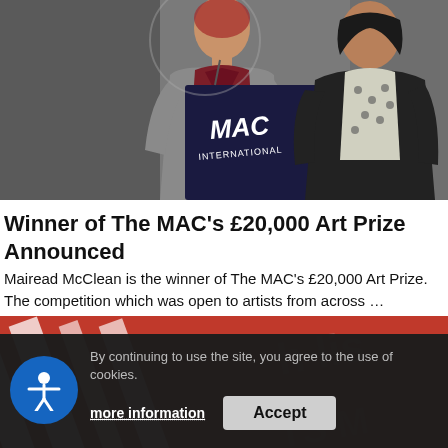[Figure (photo): Two women standing near a MAC International branded podium/lectern. The woman on the left wears a maroon/red top with a grey cardigan. The woman on the right wears a black jacket with a floral blouse. Background is grey/dark studio setting.]
Winner of The MAC’s £20,000 Art Prize Announced
Mairead McClean is the winner of The MAC’s £20,000 Art Prize. The competition which was open to artists from across …
[Figure (photo): Partial image of a red and white striped background with diagonal white bars, partially obscured text reading 'h lis' and 'TS M' visible in the corners. Cookie consent banner overlaid on top.]
By continuing to use the site, you agree to the use of cookies.
more information
Accept